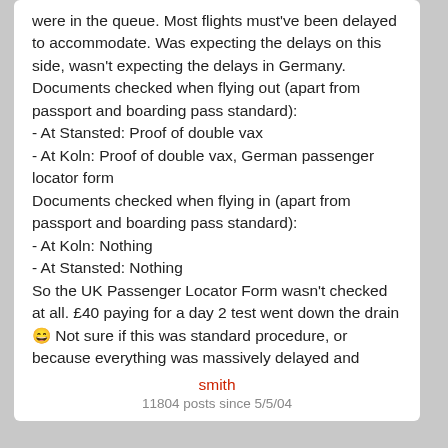were in the queue. Most flights must've been delayed to accommodate. Was expecting the delays on this side, wasn't expecting the delays in Germany.

Documents checked when flying out (apart from passport and boarding pass standard):
- At Stansted: Proof of double vax
- At Koln: Proof of double vax, German passenger locator form

Documents checked when flying in (apart from passport and boarding pass standard):
- At Koln: Nothing
- At Stansted: Nothing

So the UK Passenger Locator Form wasn't checked at all. £40 paying for a day 2 test went down the drain 😄 Not sure if this was standard procedure, or because everything was massively delayed and shortcuts taken.
smith
11804 posts since 5/5/04